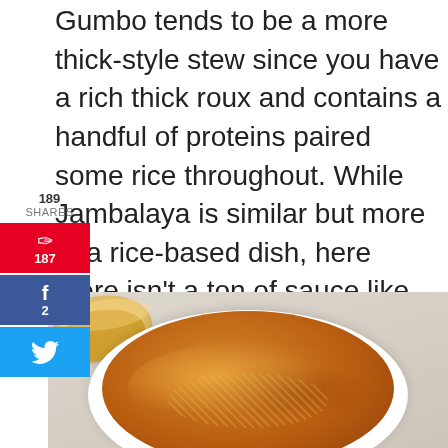Gumbo tends to be a more thick-style stew since you have a rich thick roux and contains a handful of proteins paired some rice throughout. While Jambalaya is similar but more of a rice-based dish, here there isn't a ton of sauce like this shrimp gumbo recipe.  Both have some different varieties of protein and use rice.
[Figure (photo): A white bowl filled with shrimp gumbo soup (orange-brown stew with rice and vegetables), with slices of bread in the background on a light wooden surface.]